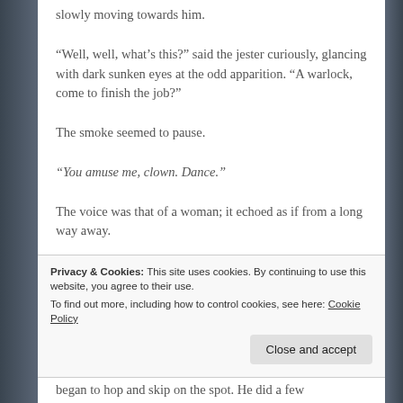slowly moving towards him.
“Well, well, what’s this?” said the jester curiously, glancing with dark sunken eyes at the odd apparition. “A warlock, come to finish the job?”
The smoke seemed to pause.
“You amuse me, clown. Dance.”
The voice was that of a woman; it echoed as if from a long way away.
Privacy & Cookies: This site uses cookies. By continuing to use this website, you agree to their use.
To find out more, including how to control cookies, see here: Cookie Policy
began to hop and skip on the spot. He did a few